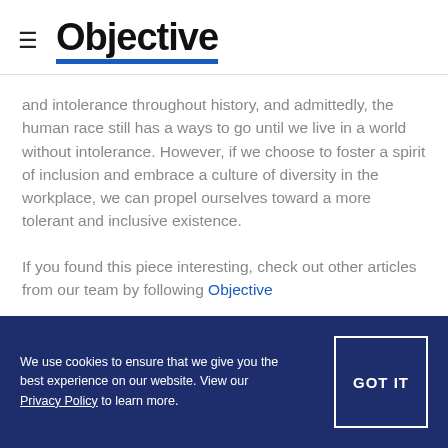Objective
and intolerance throughout history, and admittedly, the human race still has a ways to go until we live in a world without intolerance. However, if we choose to foster a spirit of inclusion and embrace a culture of diversity in the workplace, we can propel ourselves toward a more tolerant and inclusive existence.
If you found this piece interesting, check out other articles from our team by following Objective
We use cookies to ensure that we give you the best experience on our website. View our Privacy Policy to learn more.